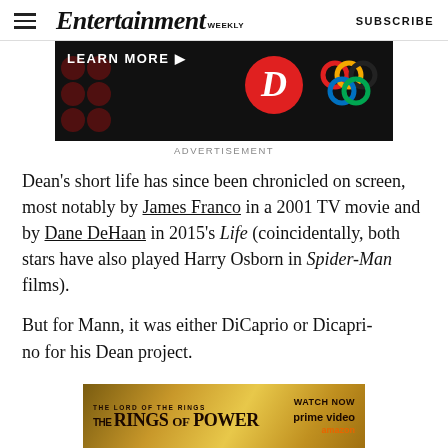Entertainment Weekly — SUBSCRIBE
[Figure (screenshot): Advertisement banner with black background showing 'LEARN MORE' text, decorative dots, a red D logo circle, and a colorful interlocking rings logo]
ADVERTISEMENT
Dean's short life has since been chronicled on screen, most notably by James Franco in a 2001 TV movie and by Dane DeHaan in 2015's Life (coincidentally, both stars have also played Harry Osborn in Spider-Man films).
But for Mann, it was either DiCaprio or Dicaprio for his Dean project.
[Figure (screenshot): Advertisement for The Lord of the Rings: The Rings of Power on Prime Video with golden background]